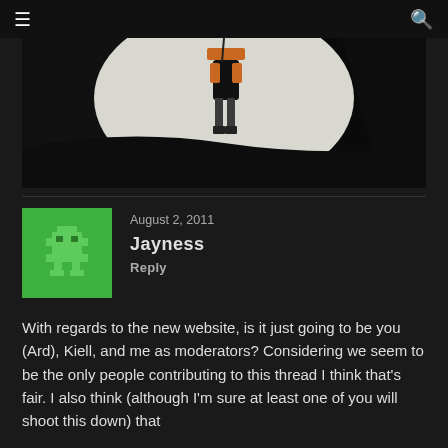≡  🔍
[Figure (photo): Dark cinematic image showing a figure in orange gear against a snowy white background, viewed through a dark framing element]
August 2, 2011
Jayness
Reply
With regards to the new website, is it just going to be you (Ard), Kiell, and me as moderators? Considering we seem to be the only people contributing to this thread I think that's fair. I also think (although I'm sure at least one of you will shoot this down) that